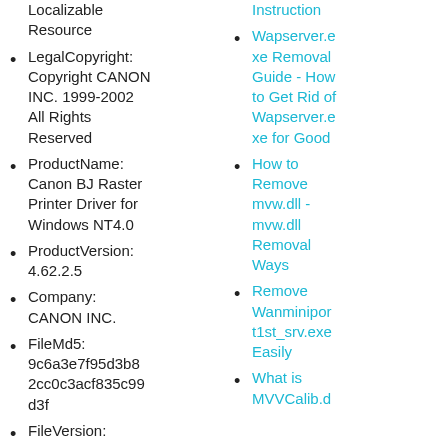Localizable Resource
LegalCopyright: Copyright CANON INC. 1999-2002 All Rights Reserved
ProductName: Canon BJ Raster Printer Driver for Windows NT4.0
ProductVersion: 4.62.2.5
Company: CANON INC.
FileMd5: 9c6a3e7f95d3b82cc0c3acf835c99d3f
FileVersion:
Instruction
Wapserver.exe Removal Guide - How to Get Rid of Wapserver.exe for Good
How to Remove mvw.dll - mvw.dll Removal Ways
Remove Wanminiport1st_srv.exe Easily
What is MVVCalib.d